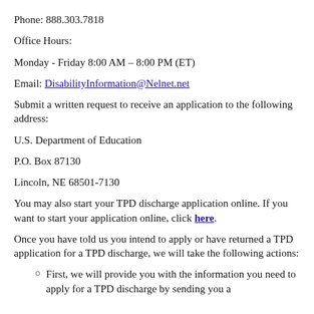Phone: 888.303.7818
Office Hours:
Monday - Friday 8:00 AM – 8:00 PM (ET)
Email: DisabilityInformation@Nelnet.net
Submit a written request to receive an application to the following address:
U.S. Department of Education
P.O. Box 87130
Lincoln, NE 68501-7130
You may also start your TPD discharge application online. If you want to start your application online, click here.
Once you have told us you intend to apply or have returned a TPD application for a TPD discharge, we will take the following actions:
First, we will provide you with the information you need to apply for a TPD discharge by sending you a